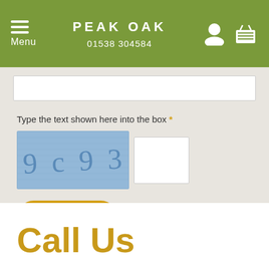PEAK OAK
01538 304584
[Figure (screenshot): CAPTCHA image showing text '9 c 9 3 1' on a blue textured background]
Type the text shown here into the box *
ADD COMMENT
Call Us